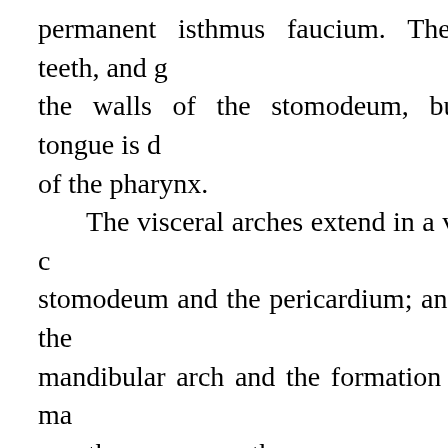permanent isthmus faucium. The lips, teeth, and g the walls of the stomodeum, but the tongue is d of the pharynx. The visceral arches extend in a ventral c stomodeum and the pericardium; and with the mandibular arch and the formation of the ma mouth assumes the appearance of a pentagonal bounded in front by the fronto-nasal process, beh arch, and laterally by the maxillary processes. W and fusion of the palatine processes, the stomode upper nasal, and a lower buccal part. Along the processes bounding the mouth cavity a shallow g